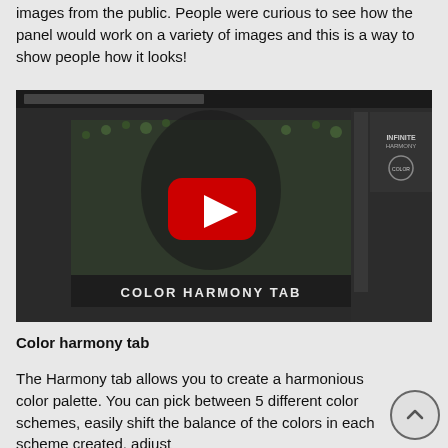images from the public. People were curious to see how the panel would work on a variety of images and this is a way to show people how it looks!
[Figure (screenshot): YouTube video thumbnail showing a Photoshop interface with a woman lying in flowers, with a red YouTube play button overlay and text 'COLOR HARMONY TAB']
Color harmony tab
The Harmony tab allows you to create a harmonious color palette. You can pick between 5 different color schemes, easily shift the balance of the colors in each scheme created, adjust